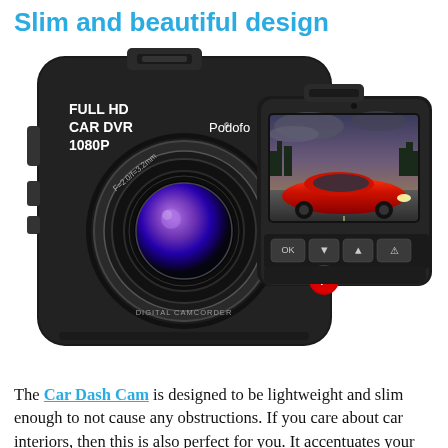Slim and beautiful design
[Figure (photo): Product photo of a Podofo Full HD Car DVR 1080P dash cam showing the front face with camera lens labeled F=2.0/f=3.2mm and DIGITAL CAMCORDER, with text FULL HD CAR DVR 1080P and Podofo brand name. Behind it is the rear of a second unit showing the LCD screen displaying a red Ferrari driving on a road, with navigation buttons OK, down arrow, up arrow, and a warning button, and a red P button.]
The Car Dash Cam is designed to be lightweight and slim enough to not cause any obstructions. If you care about car interiors, then this is also perfect for you. It accentuates your interior, and